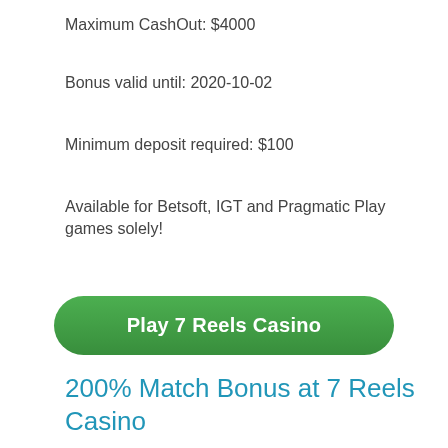Maximum CashOut: $4000
Bonus valid until: 2020-10-02
Minimum deposit required: $100
Available for Betsoft, IGT and Pragmatic Play games solely!
[Figure (other): Green rounded button labeled 'Play 7 Reels Casino']
200% Match Bonus at 7 Reels Casino